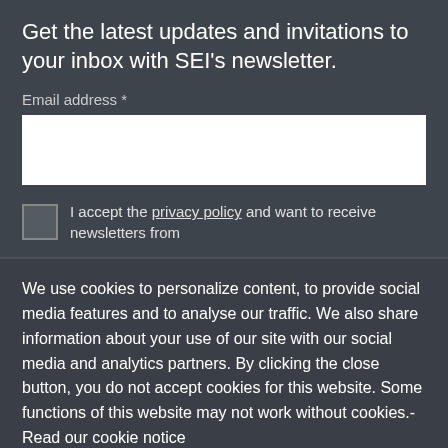Get the latest updates and invitations to your inbox with SEI's newsletter.
Email address *
[Figure (other): Email address input text field (white rectangle)]
I accept the privacy policy and want to receive newsletters from
We use cookies to personalize content, to provide social media features and to analyse our traffic. We also share information about your use of our site with our social media and analytics partners. By clicking the close button, you do not accept cookies for this website. Some functions of this website may not work without cookies.- Read our cookie notice
Accept Cookies   Close   Cookie Settings